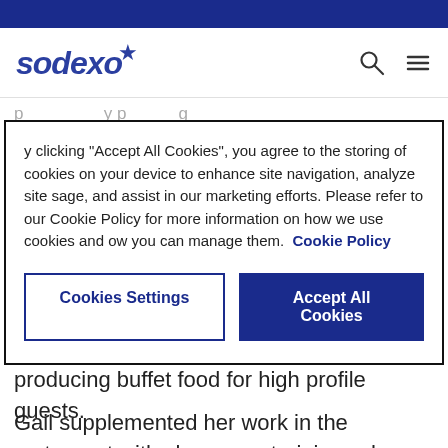[Figure (logo): Sodexo logo with blue italic text and star]
By clicking “Accept All Cookies”, you agree to the storing of cookies on your device to enhance site navigation, analyze site usage, and assist in our marketing efforts. Please refer to our Cookie Policy for more information on how we use cookies and how you can manage them. Cookie Policy
Cookies Settings
Accept All Cookies
producing buffet food for high profile guests.
Gail supplemented her work in the restaurant with classroom training, where she was able to successfully complete a Control of Substances Hazardous to Health (COSHH) cleaning course.